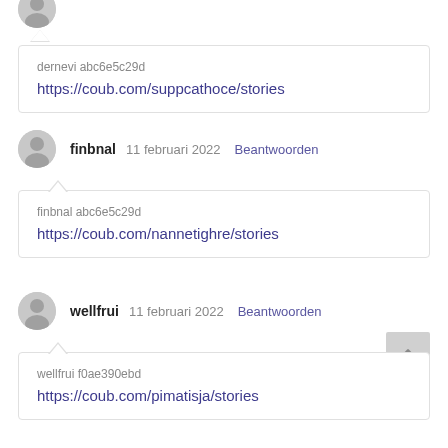dernevi abc6e5c29d
https://coub.com/suppcathoce/stories
finbnal  11 februari 2022  Beantwoorden
finbnal abc6e5c29d
https://coub.com/nannetighre/stories
wellfrui  11 februari 2022  Beantwoorden
wellfrui f0ae390ebd
https://coub.com/pimatisja/stories